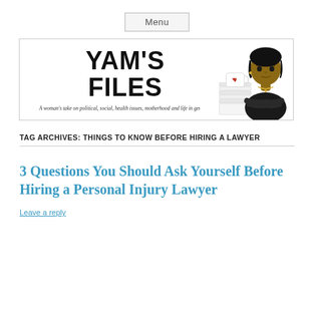Menu
[Figure (illustration): Yam's Files blog banner with large bold text 'YAM'S FILES', subtitle 'A woman's take on political, social, health issues, motherhood and life in general.' and an illustrated woman in a black top with arms crossed next to a stack of papers with a red heart mug on top.]
TAG ARCHIVES: THINGS TO KNOW BEFORE HIRING A LAWYER
3 Questions You Should Ask Yourself Before Hiring a Personal Injury Lawyer
Leave a reply